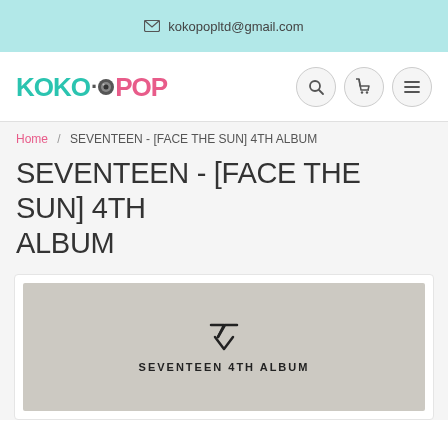kokopopltd@gmail.com
[Figure (logo): KOKO·POP logo with teal KOKO, dot with lens icon, pink POP text, and navigation icons (search, cart, menu)]
Home / SEVENTEEN - [FACE THE SUN] 4TH ALBUM
SEVENTEEN - [FACE THE SUN] 4TH ALBUM
[Figure (photo): SEVENTEEN 4TH ALBUM product image with Seventeen logo and text 'SEVENTEEN 4TH ALBUM' on a grey/beige background]